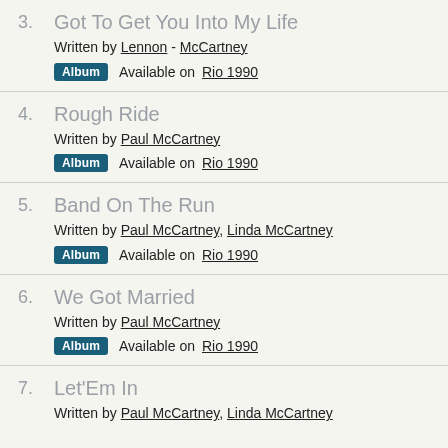3. Got To Get You Into My Life
Written by Lennon - McCartney
Album Available on Rio 1990
4. Rough Ride
Written by Paul McCartney
Album Available on Rio 1990
5. Band On The Run
Written by Paul McCartney, Linda McCartney
Album Available on Rio 1990
6. We Got Married
Written by Paul McCartney
Album Available on Rio 1990
7. Let'Em In
Written by Paul McCartney, Linda McCartney